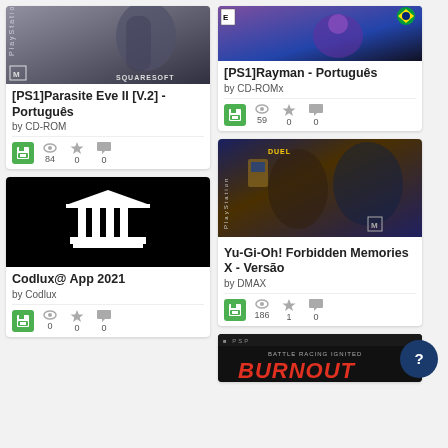[Figure (screenshot): PS1 Parasite Eve II game cover - partially visible, Squaresoft branding, M rating]
[PS1]Parasite Eve II [V.2] - Português
by CD-ROM
[Figure (screenshot): Rayman PS1 game cover - Rayman character with Brazilian flag]
[PS1]Rayman - Português
by CD-ROMx
[Figure (screenshot): Codlux App 2021 - black background with white building/temple icon]
Codlux@ App 2021
by Codlux
[Figure (screenshot): Yu-Gi-Oh! Forbidden Memories X PlayStation game cover]
Yu-Gi-Oh! Forbidden Memories X - Versão
by DMAX
[Figure (screenshot): PSP Burnout game cover - Battle Racing Ignited, partially visible]